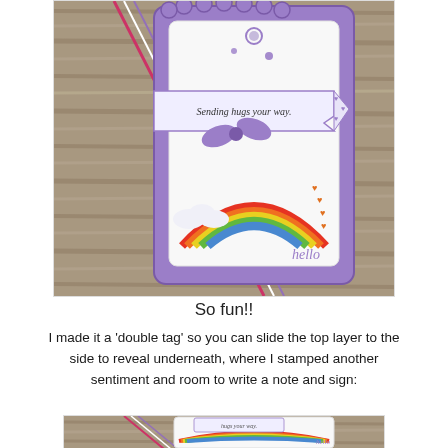[Figure (photo): A handmade craft tag with purple decorative border, a rainbow stamp, purple bow, striped twine, and a banner reading 'Sending hugs your way.' on a wooden background with 'hello' text in purple.]
So fun!!
I made it a 'double tag' so you can slide the top layer to the side to reveal underneath, where I stamped another sentiment and room to write a note and sign:
[Figure (photo): A partially slid double tag revealing the underlayer with rainbow stripes and 'hello' text, showing the sliding mechanism of the double tag craft.]